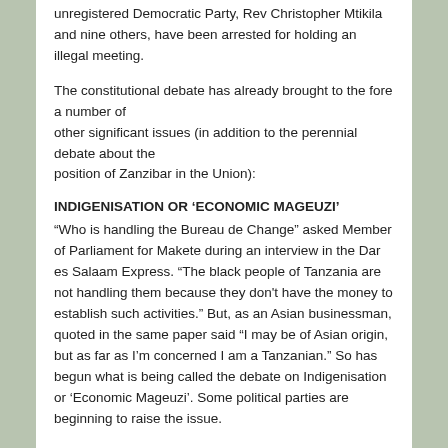unregistered Democratic Party, Rev Christopher Mtikila and nine others, have been arrested for holding an illegal meeting.
The constitutional debate has already brought to the fore a number of other significant issues (in addition to the perennial debate about the position of Zanzibar in the Union):
INDIGENISATION OR ‘ECONOMIC MAGEUZI’
“Who is handling the Bureau de Change” asked Member of Parliament for Makete during an interview in the Dar es Salaam Express. “The black people of Tanzania are not handling them because they don't have the money to establish such activities.” But, as an Asian businessman, quoted in the same paper said “I may be of Asian origin, but as far as I’m concerned I am a Tanzanian.” So has begun what is being called the debate on Indigenisation or ‘Economic Mageuzi’. Some political parties are beginning to raise the issue.